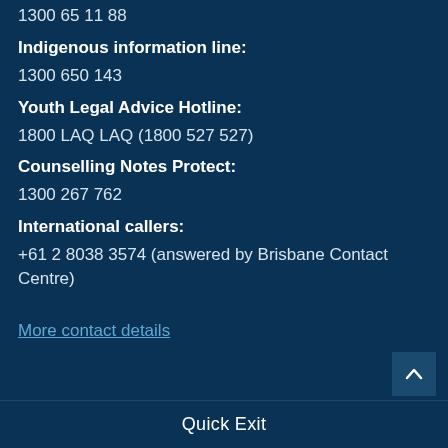1300 65 11 88
Indigenous information line:
1300 650 143
Youth Legal Advice Hotline:
1800 LAQ LAQ (1800 527 527)
Counselling Notes Protect:
1300 267 762
International callers:
+61 2 8038 3574 (answered by Brisbane Contact Centre)
More contact details
Quick Exit